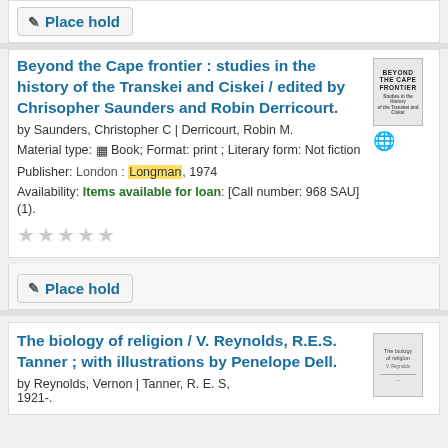Place hold
Beyond the Cape frontier : studies in the history of the Transkei and Ciskei / edited by Chrisopher Saunders and Robin Derricourt.
by Saunders, Christopher C | Derricourt, Robin M.
Material type: Book; Format: print ; Literary form: Not fiction
Publisher: London : Longman, 1974
Availability: Items available for loan: [Call number: 968 SAU] (1).
Place hold
The biology of religion / V. Reynolds, R.E.S. Tanner ; with illustrations by Penelope Dell.
by Reynolds, Vernon | Tanner, R. E. S, 1921-.